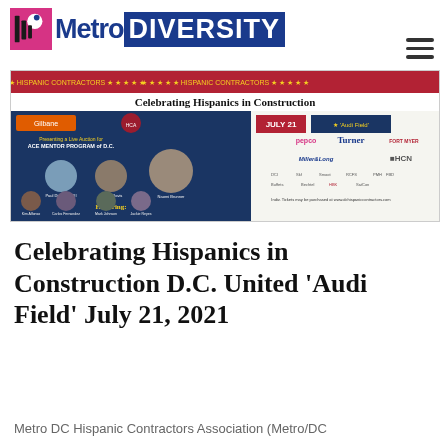Metro DIVERSITY
[Figure (illustration): Event flyer for 'Celebrating Hispanics in Construction' by Metro DC Hispanic Contractors, held July 21 at Audi Field, featuring photos of honorees and sponsor logos including Turner, Gilbane, Pepco, Miller & Long, HCN, and others.]
Celebrating Hispanics in Construction D.C. United 'Audi Field' July 21, 2021
Metro DC Hispanic Contractors Association (Metro/DC